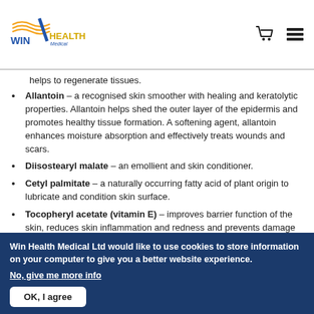[Figure (logo): Win Health Medical logo with orange wave design and blue/gold text]
helps to regenerate tissues.
Allantoin – a recognised skin smoother with healing and keratolytic properties. Allantoin helps shed the outer layer of the epidermis and promotes healthy tissue formation. A softening agent, allantoin enhances moisture absorption and effectively treats wounds and scars.
Diisostearyl malate – an emollient and skin conditioner.
Cetyl palmitate – a naturally occurring fatty acid of plant origin to lubricate and condition skin surface.
Tocopheryl acetate (vitamin E) – improves barrier function of the skin, reduces skin inflammation and redness and prevents damage caused by free radicals.
Vegetable glycerine – facilitates moisture and balances
Win Health Medical Ltd would like to use cookies to store information on your computer to give you a better website experience. No, give me more info